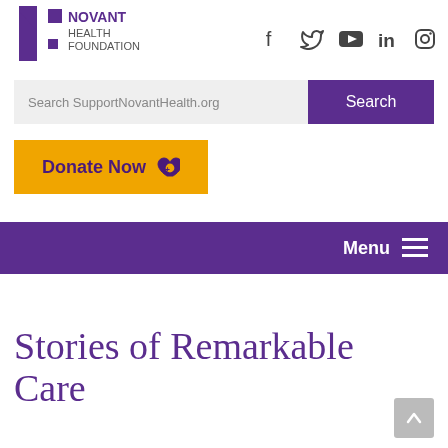[Figure (logo): Novant Health Foundation logo with purple N and colored squares]
[Figure (infographic): Social media icons: Facebook, Twitter, YouTube, LinkedIn, Instagram]
Search SupportNovantHealth.org
Search
Donate Now
Menu
Stories of Remarkable Care